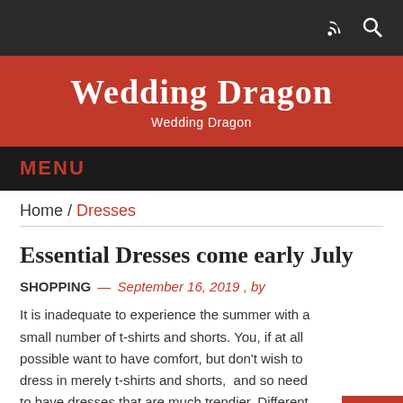Wedding Dragon — Wedding Dragon
MENU
Home / Dresses
Essential Dresses come early July
SHOPPING — September 16, 2019 , by
It is inadequate to experience the summer with a small number of t-shirts and shorts. You, if at all possible want to have comfort, but don't wish to dress in merely t-shirts and shorts,  and so need to have dresses that are much trendier. Different dress styles from a maxi to a mini are offered in almost every sizing, shape and